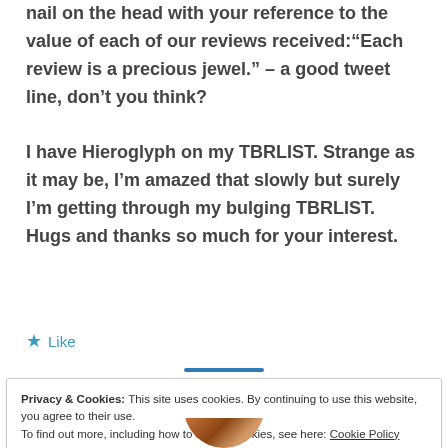nail on the head with your reference to the value of each of our reviews received:“Each review is a precious jewel.” – a good tweet line, don’t you think?
I have Hieroglyph on my TBRLIST. Strange as it may be, I’m amazed that slowly but surely I’m getting through my bulging TBRLIST. Hugs and thanks so much for your interest.
★ Like
Privacy & Cookies: This site uses cookies. By continuing to use this website, you agree to their use.
To find out more, including how to control cookies, see here: Cookie Policy
Close and accept